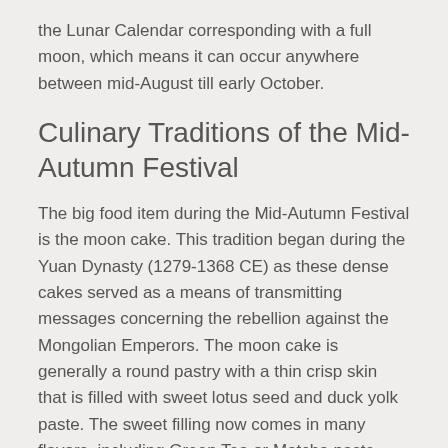the Lunar Calendar corresponding with a full moon, which means it can occur anywhere between mid-August till early October.
Culinary Traditions of the Mid-Autumn Festival
The big food item during the Mid-Autumn Festival is the moon cake. This tradition began during the Yuan Dynasty (1279-1368 CE) as these dense cakes served as a means of transmitting messages concerning the rebellion against the Mongolian Emperors. The moon cake is generally a round pastry with a thin crisp skin that is filled with sweet lotus seed and duck yolk paste. The sweet filling now comes in many flavors, including Green Tea or Matcha paste filling. There are also now savory moon cakes filled with various meats and nuts.